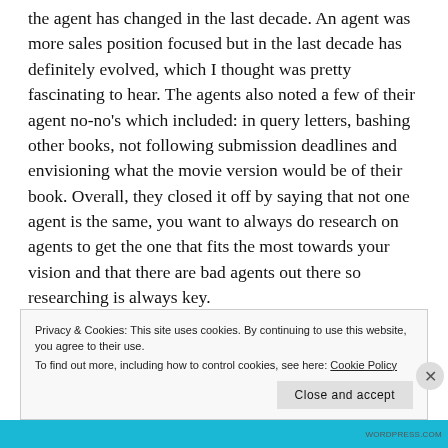the agent has changed in the last decade. An agent was more sales position focused but in the last decade has definitely evolved, which I thought was pretty fascinating to hear. The agents also noted a few of their agent no-no's which included: in query letters, bashing other books, not following submission deadlines and envisioning what the movie version would be of their book. Overall, they closed it off by saying that not one agent is the same, you want to always do research on agents to get the one that fits the most towards your vision and that there are bad agents out there so researching is always key.
Privacy & Cookies: This site uses cookies. By continuing to use this website, you agree to their use.
To find out more, including how to control cookies, see here: Cookie Policy